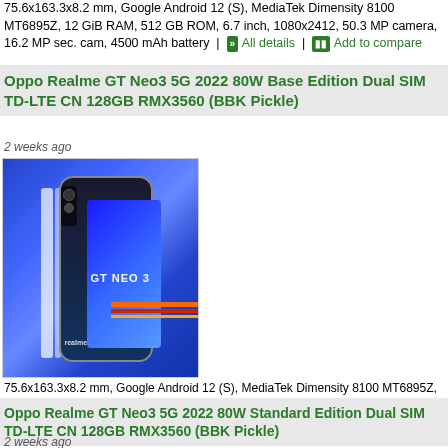75.6x163.3x8.2 mm, Google Android 12 (S), MediaTek Dimensity 8100 MT6895Z, 12 GiB RAM, 512 GB ROM, 6.7 inch, 1080x2412, 50.3 MP camera, 16.2 MP sec. cam, 4500 mAh battery | All details | Add to compare
Oppo Realme GT Neo3 5G 2022 80W Base Edition Dual SIM TD-LTE CN 128GB RMX3560 (BBK Pickle)
2 weeks ago
[Figure (photo): Photo of Realme GT Neo3 smartphone in blue color with white racing stripes]
75.6x163.3x8.2 mm, Google Android 12 (S), MediaTek Dimensity 8100 MT6895Z, 6 GiB RAM, 128 GB ROM, 6.7 inch, 1080x2412, 50.3 MP camera, 16.2 MP sec. cam, 5000 mAh battery | All details | Add to compare
Oppo Realme GT Neo3 5G 2022 80W Standard Edition Dual SIM TD-LTE CN 128GB RMX3560 (BBK Pickle)
2 weeks ago